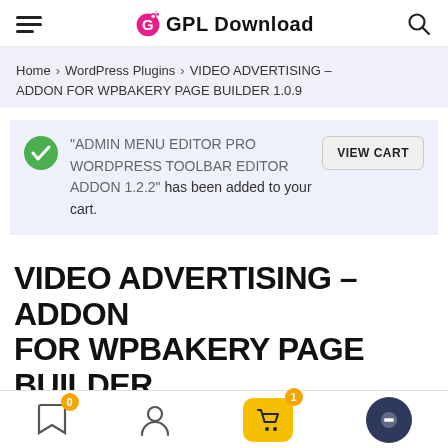GPL Download
Home > WordPress Plugins > VIDEO ADVERTISING – ADDON FOR WPBAKERY PAGE BUILDER 1.0.9
"ADMIN MENU EDITOR PRO WORDPRESS TOOLBAR EDITOR ADDON 1.2.2" has been added to your cart.
VIDEO ADVERTISING – ADDON FOR WPBAKERY PAGE BUILDER 1.0.9